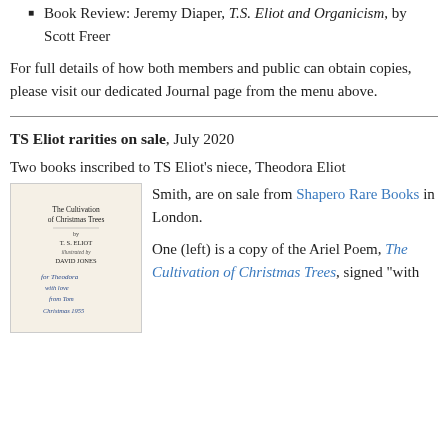Book Review: Jeremy Diaper, T.S. Eliot and Organicism, by Scott Freer
For full details of how both members and public can obtain copies, please visit our dedicated Journal page from the menu above.
TS Eliot rarities on sale, July 2020
Two books inscribed to TS Eliot's niece, Theodora Eliot Smith, are on sale from Shapero Rare Books in London.
[Figure (photo): Title page of 'The Cultivation of Christmas Trees' by T.S. Eliot, illustrated by David Jones, with handwritten inscription to Theodora, Christmas 1955]
One (left) is a copy of the Ariel Poem, The Cultivation of Christmas Trees, signed "with